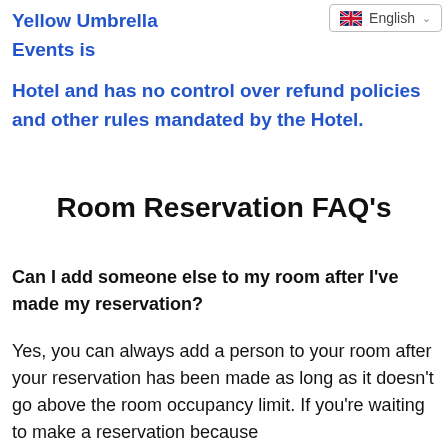Yellow Umbrella Events is
[Figure (other): English language selector with UK flag and dropdown chevron]
Hotel and has no control over refund policies and other rules mandated by the Hotel.
Room Reservation FAQ's
Can I add someone else to my room after I've made my reservation?
Yes, you can always add a person to your room after your reservation has been made as long as it doesn't go above the room occupancy limit. If you're waiting to make a reservation because